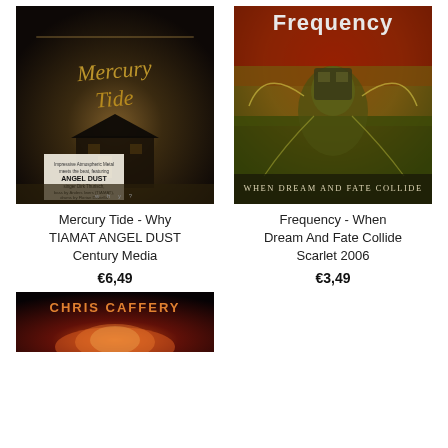[Figure (photo): Album cover for Mercury Tide - Why, dark sepia toned image of a house with text overlay mentioning ANGEL DUST, Dirk Thurisch, TIAMAT, FLOWING TEARS]
Mercury Tide - Why TIAMAT ANGEL DUST Century Media
€6,49
[Figure (photo): Album cover for Frequency - When Dream And Fate Collide, surreal creature with mechanical elements against red/orange sky, text WHEN DREAM AND FATE COLLIDE at bottom]
Frequency - When Dream And Fate Collide Scarlet 2006
€3,49
[Figure (photo): Album cover for Chris Caffery, showing fire/flames with the artist name CHRIS CAFFERY in orange text at top]